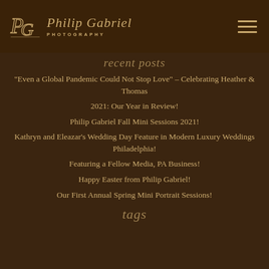Philip Gabriel Photography
recent posts
“Even a Global Pandemic Could Not Stop Love” – Celebrating Heather & Thomas
2021: Our Year in Review!
Philip Gabriel Fall Mini Sessions 2021!
Kathryn and Eleazar’s Wedding Day Feature in Modern Luxury Weddings Philadelphia!
Featuring a Fellow Media, PA Business!
Happy Easter from Philip Gabriel!
Our First Annual Spring Mini Portrait Sessions!
tags